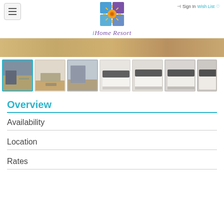Sign In  Wish List
[Figure (logo): iHome Resort logo: colorful sun design in blue/purple grid squares with orange sun spiral]
iHome Resort
[Figure (photo): Hero banner photo of hardwood floor close-up]
[Figure (photo): Thumbnail gallery of 7 room photos: living room, bedroom areas with wood floors, beds with white linens]
Overview
Availability
Location
Rates